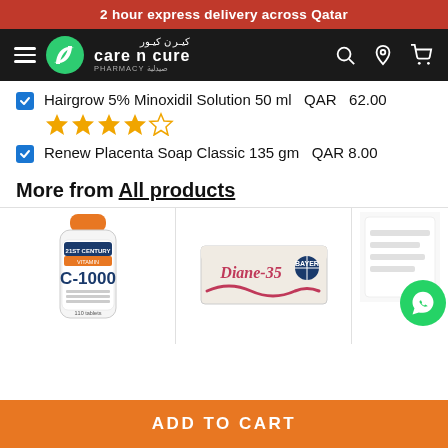2 hour express delivery across Qatar
[Figure (logo): Care n Cure Pharmacy logo with green leaf icon on dark navbar with hamburger menu, search, location, and cart icons]
Hairgrow 5% Minoxidil Solution 50 ml  QAR  62.00
[Figure (other): 4 out of 5 star rating in gold/orange color]
Renew Placenta Soap Classic 135 gm  QAR 8.00
More from All products
[Figure (photo): Product card showing 21st Century C-1000 vitamin supplement bottle with orange cap]
[Figure (photo): Product card showing Diane-35 medication box]
[Figure (photo): Partially visible third product card with WhatsApp icon overlay]
ADD TO CART